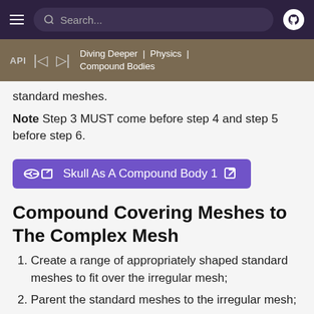Search...
API | Diving Deeper | Physics | Compound Bodies
standard meshes.
Note Step 3 MUST come before step 4 and step 5 before step 6.
[Figure (other): Purple button link: Skull As A Compound Body 1 with external link icon]
Compound Covering Meshes to The Complex Mesh
1. Create a range of appropriately shaped standard meshes to fit over the irregular mesh;
2. Parent the standard meshes to the irregular mesh;
3. Calculate or estimate the mass for each standard mesh;